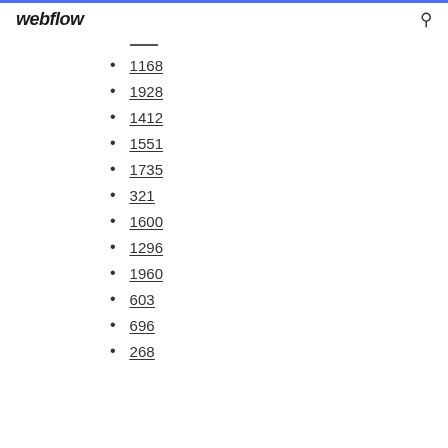webflow
1168
1928
1412
1551
1735
321
1600
1296
1960
603
696
268